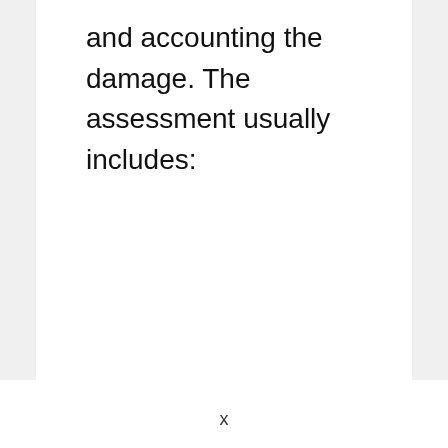and accounting the damage. The assessment usually includes:
x